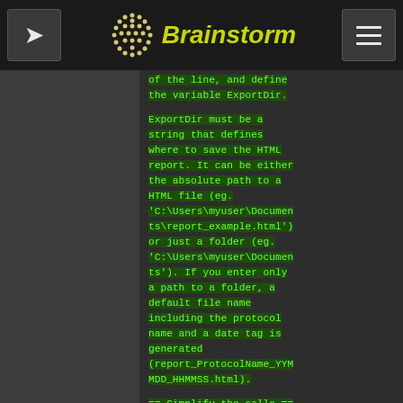Brainstorm
of the line, and define the variable ExportDir.
ExportDir must be a string that defines where to save the HTML report. It can be either the absolute path to a HTML file (eg. 'C:\Users\myuser\Documents\report_example.html') or just a folder (eg. 'C:\Users\myuser\Documents'). If you enter only a path to a folder, a default file name including the protocol name and a date tag is generated (report_ProtocolName_YYMMDD_HHMMSS.html).
== Simplify the calls == The script you generated is like any Matlab script: you can edit it